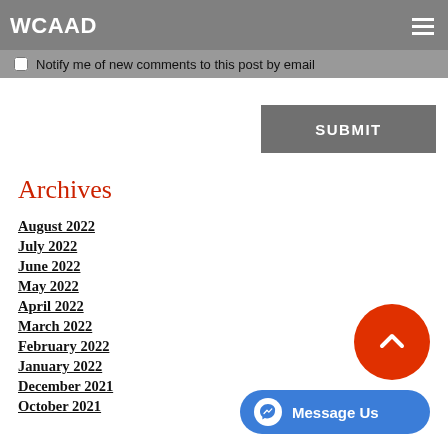WCAAD
Notify me of new comments to this post by email
SUBMIT
Archives
August 2022
July 2022
June 2022
May 2022
April 2022
March 2022
February 2022
January 2022
December 2021
October 2021